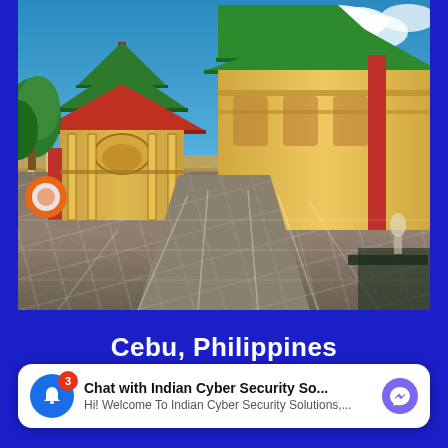[Figure (photo): Photo of a Chinese temple complex in Cebu, Philippines. Shows ornate pagoda-style buildings with green and red roofs, red pillars, golden-yellow walls with decorative details, stone-paved courtyard, trees, and a blue sky with white clouds. An orange circle icon is visible on the left side of the image.]
Cebu, Philippines
[Figure (screenshot): Chat widget overlay showing a blue bell icon with a red notification badge showing '3', bold text 'Chat with Indian Cyber Security So...' and subtitle 'Hi! Welcome To Indian Cyber Security Solutions,...' with a purple Messenger icon on the right.]